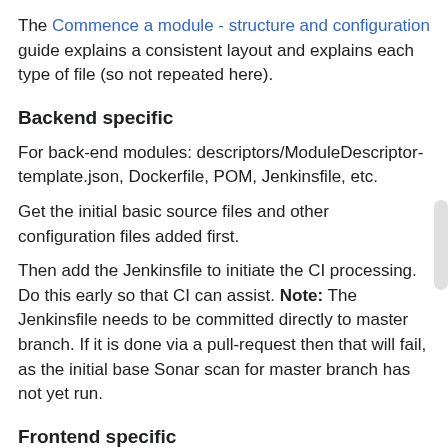The Commence a module - structure and configuration guide explains a consistent layout and explains each type of file (so not repeated here).
Backend specific
For back-end modules: descriptors/ModuleDescriptor-template.json, Dockerfile, POM, Jenkinsfile, etc.
Get the initial basic source files and other configuration files added first.
Then add the Jenkinsfile to initiate the CI processing. Do this early so that CI can assist. Note: The Jenkinsfile needs to be committed directly to master branch. If it is done via a pull-request then that will fail, as the initial base Sonar scan for master branch has not yet run.
Frontend specific